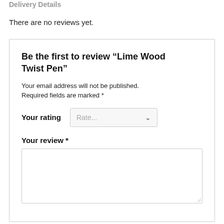Delivery Details
There are no reviews yet.
Be the first to review “Lime Wood Twist Pen”
Your email address will not be published.
Required fields are marked *
Your rating
Your review *